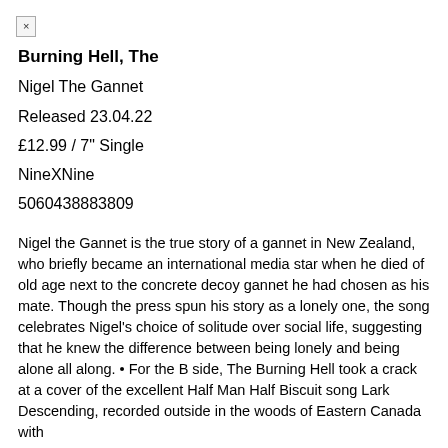Burning Hell, The
Nigel The Gannet
Released 23.04.22
£12.99 / 7" Single
NineXNine
5060438883809
Nigel the Gannet is the true story of a gannet in New Zealand, who briefly became an international media star when he died of old age next to the concrete decoy gannet he had chosen as his mate. Though the press spun his story as a lonely one, the song celebrates Nigel's choice of solitude over social life, suggesting that he knew the difference between being lonely and being alone all along. • For the B side, The Burning Hell took a crack at a cover of the excellent Half Man Half Biscuit song Lark Descending, recorded outside in the woods of Eastern Canada with